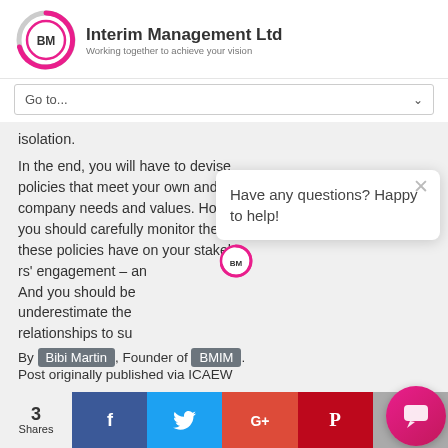[Figure (logo): BM Interim Management Ltd logo — pink/magenta circular arrow with BM initials, company name and tagline 'Working together to achieve your vision']
Go to...
isolation.
In the end, you will have to devise policies that meet your own and your company needs and values. However, you should carefully monitor the effects these policies have on your stakeholders' engagement – and... And you should be... underestimate the... relationships to su...
Have any questions? Happy to help!
By Bibi Martin, Founder of BMIM. Post originally published via ICAEW
3 Shares
[Figure (infographic): Social share bar with Facebook, Twitter, Google+, Pinterest, Email icons and 3 Shares count. Chat bubble button bottom right.]